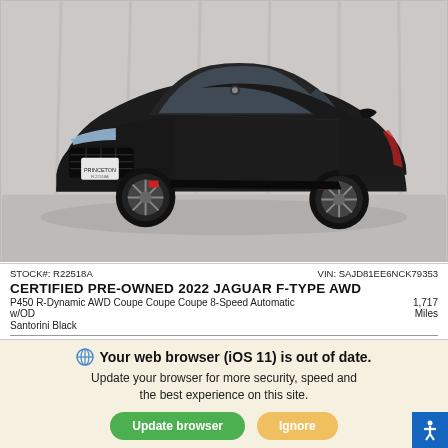[Figure (photo): Certified pre-owned 2022 Jaguar F-Type AWD in Santorini Black, front three-quarter view, dark sports coupe on showroom floor with grey curtain background]
STOCK#: R22518A    VIN: SAJD81EE6NCK79353
CERTIFIED PRE-OWNED 2022 JAGUAR F-TYPE AWD
P450 R-Dynamic AWD Coupe Coupe Coupe 8-Speed Automatic w/OD    1,717 Miles
Santorini Black
Retail Price    $89,988
Your web browser (iOS 11) is out of date. Update your browser for more security, speed and the best experience on this site.